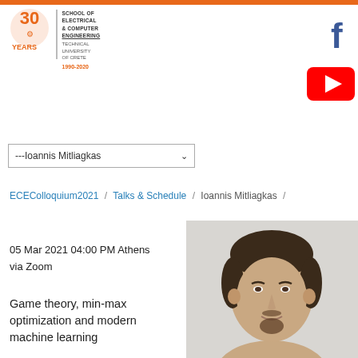[Figure (logo): ECE TUC 30 Years logo with school name, Technical University of Crete, 1990-2020]
[Figure (logo): Facebook icon (blue letter f)]
[Figure (logo): YouTube icon (red rounded rectangle with white play button)]
---Ioannis Mitliagkas
ECEColloquium2021 / Talks & Schedule / Ioannis Mitliagkas /
05 Mar 2021 04:00 PM Athens
via Zoom
Game theory, min-max optimization and modern machine learning
[Figure (photo): Headshot photo of Ioannis Mitliagkas, a man with dark hair and goatee]